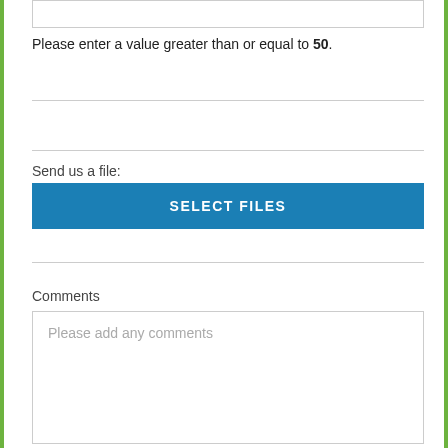[Figure (screenshot): Input text field at top of form]
Please enter a value greater than or equal to 50.
Send us a file:
[Figure (screenshot): Blue button labeled SELECT FILES]
Comments
[Figure (screenshot): Text area with placeholder text: Please add any comments]